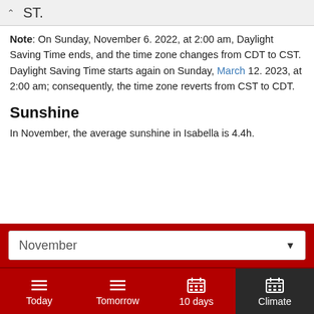ST.
Note: On Sunday, November 6. 2022, at 2:00 am, Daylight Saving Time ends, and the time zone changes from CDT to CST. Daylight Saving Time starts again on Sunday, March 12. 2023, at 2:00 am; consequently, the time zone reverts from CST to CDT.
Sunshine
In November, the average sunshine in Isabella is 4.4h.
November
Today | Tomorrow | 10 days | Climate